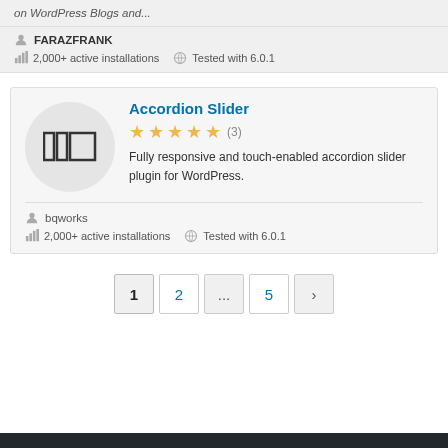on WordPress Blogs and...
FARAZFRANK
2,000+ active installations   Tested with 6.0.1
Accordion Slider
★★★★★ (3)
Fully responsive and touch-enabled accordion slider plugin for WordPress.
bqworks
2,000+ active installations   Tested with 6.0.1
1  2  ...  5  ›